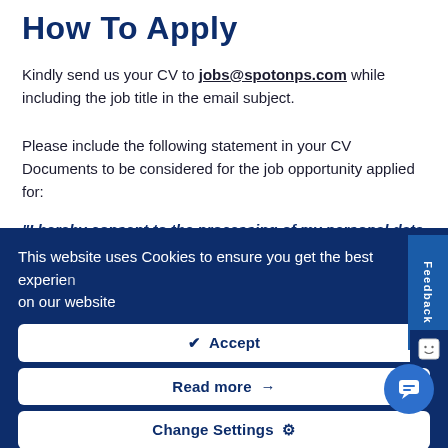How To Apply
Kindly send us your CV to jobs@spotonps.com while including the job title in the email subject.
Please include the following statement in your CV Documents to be considered for the job opportunity applied for:
"I hereby consent to the processing of my personal data for
This website uses Cookies to ensure you get the best experience on our website
✔ Accept
Read more →
Change Settings ⚙
#munca #pabora #praca #nabor #rekruttering #werving